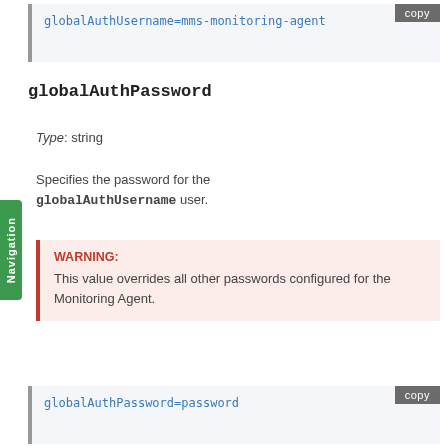[Figure (screenshot): Code block showing: globalAuthUsername=mms-monitoring-agent with a copy button]
globalAuthPassword
Type: string
Specifies the password for the globalAuthUsername user.
WARNING: This value overrides all other passwords configured for the Monitoring Agent.
[Figure (screenshot): Code block showing: globalAuthPassword=password with a copy button]